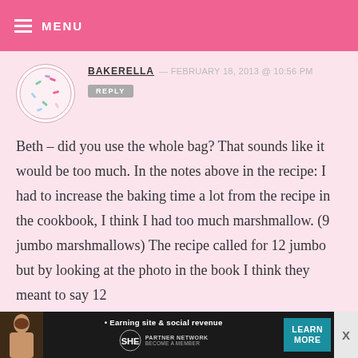MENU
BAKERELLA — FEBRUARY 18, 2013 @ 10:56 PM
REPLY
Beth – did you use the whole bag? That sounds like it would be too much. In the notes above in the recipe: I had to increase the baking time a lot from the recipe in the cookbook, I think I had too much marshmallow. (9 jumbo marshmallows) The recipe called for 12 jumbo but by looking at the photo in the book I think they meant to say 12
[Figure (infographic): SHE Partner Network advertisement banner at bottom of page with woman photo, tagline 'Earning site & social revenue', SHE logo, LEARN MORE button]